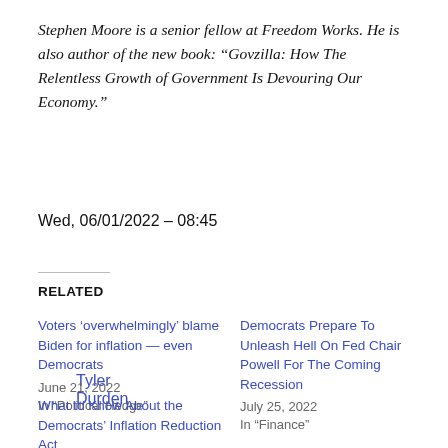Stephen Moore is a senior fellow at Freedom Works. He is also author of the new book: “Govzilla: How The Relentless Growth of Government Is Devouring Our Economy.”
Tyler Durden
Wed, 06/01/2022 – 08:45
RELATED
Voters 'overwhelmingly' blame Biden for inflation — even Democrats
June 21, 2022
In “Political Hedge”
Democrats Prepare To Unleash Hell On Fed Chair Powell For The Coming Recession
July 25, 2022
In “Finance”
What to Know About the Democrats' Inflation Reduction Act
July 28, 2022